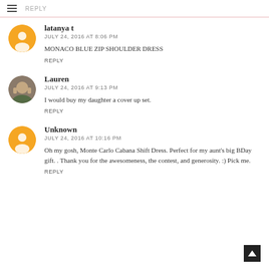REPLY
latanya t
JULY 24, 2016 AT 8:06 PM
MONACO BLUE ZIP SHOULDER DRESS
REPLY
Lauren
JULY 24, 2016 AT 9:13 PM
I would buy my daughter a cover up set.
REPLY
Unknown
JULY 24, 2016 AT 10:16 PM
Oh my gosh, Monte Carlo Cabana Shift Dress. Perfect for my aunt's big BDay gift. . Thank you for the awesomeness, the contest, and generosity. :) Pick me.
REPLY